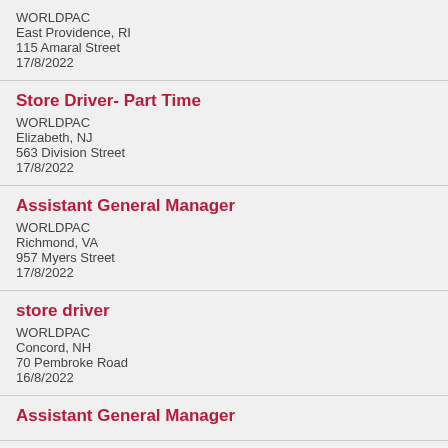WORLDPAC
East Providence, RI
115 Amaral Street
17/8/2022
Store Driver- Part Time
WORLDPAC
Elizabeth, NJ
563 Division Street
17/8/2022
Assistant General Manager
WORLDPAC
Richmond, VA
957 Myers Street
17/8/2022
store driver
WORLDPAC
Concord, NH
70 Pembroke Road
16/8/2022
Assistant General Manager